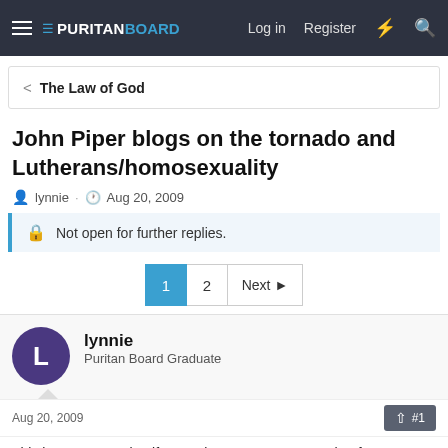PURITAN BOARD — Log in  Register
< The Law of God
John Piper blogs on the tornado and Lutherans/homosexuality
lynnie · Aug 20, 2009
Not open for further replies.
1  2  Next
lynnie
Puritan Board Graduate
Aug 20, 2009  #1
This is pretty amazing if you ask me. I wasn't sure what forum